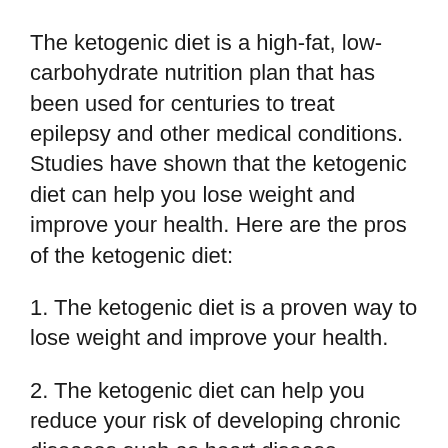The ketogenic diet is a high-fat, low-carbohydrate nutrition plan that has been used for centuries to treat epilepsy and other medical conditions. Studies have shown that the ketogenic diet can help you lose weight and improve your health. Here are the pros of the ketogenic diet:
1. The ketogenic diet is a proven way to lose weight and improve your health.
2. The ketogenic diet can help you reduce your risk of developing chronic diseases such as heart disease, cancer, and diabetes.
3. The ketogenic diet can also help you feel more energetic and alert throughout the day.